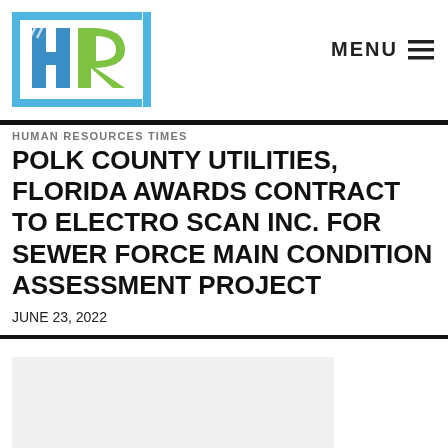[Figure (logo): HR Human Resources Times logo with blue and green stylized HR letters in brackets]
MENU ☰
HUMAN RESOURCES TIMES
POLK COUNTY UTILITIES, FLORIDA AWARDS CONTRACT TO ELECTRO SCAN INC. FOR SEWER FORCE MAIN CONDITION ASSESSMENT PROJECT
JUNE 23, 2022
[Figure (photo): Placeholder image area, light gray background]